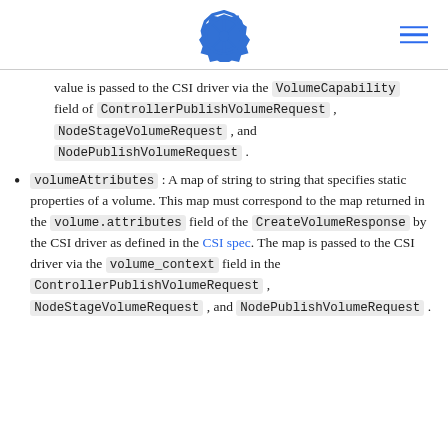Kubernetes logo and hamburger menu
value is passed to the CSI driver via the VolumeCapability field of ControllerPublishVolumeRequest , NodeStageVolumeRequest , and NodePublishVolumeRequest .
volumeAttributes : A map of string to string that specifies static properties of a volume. This map must correspond to the map returned in the volume.attributes field of the CreateVolumeResponse by the CSI driver as defined in the CSI spec. The map is passed to the CSI driver via the volume_context field in the ControllerPublishVolumeRequest , NodeStageVolumeRequest , and NodePublishVolumeRequest .